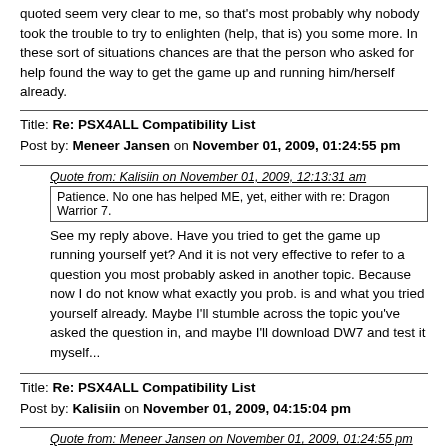quoted seem very clear to me, so that's most probably why nobody took the trouble to try to enlighten (help, that is) you some more. In these sort of situations chances are that the person who asked for help found the way to get the game up and running him/herself already.
Title: Re: PSX4ALL Compatibility List
Post by: Meneer Jansen on November 01, 2009, 01:24:55 pm
Quote from: Kalisiin on November 01, 2009, 12:13:31 am
Patience. No one has helped ME, yet, either with re: Dragon Warrior 7.
See my reply above. Have you tried to get the game up running yourself yet? And it is not very effective to refer to a question you most probably asked in another topic. Because now I do not know what exactly you prob. is and what you tried yourself already. Maybe I'll stumble across the topic you've asked the question in, and maybe I'll download DW7 and test it myself...
Title: Re: PSX4ALL Compatibility List
Post by: Kalisiin on November 01, 2009, 04:15:04 pm
Quote from: Meneer Jansen on November 01, 2009, 01:24:55 pm
Quote from: Kalisiin on November 01, 2009, 12:13:31 am
Patience. No one has helped ME, yet, either with re: Dragon Warrior 7.
See my reply above. Have you tried to get the game up running yourself yet? And it is not very effective to refer to a question you most probably asked in another topic. Because now I do not know what exactly you prob. is and what